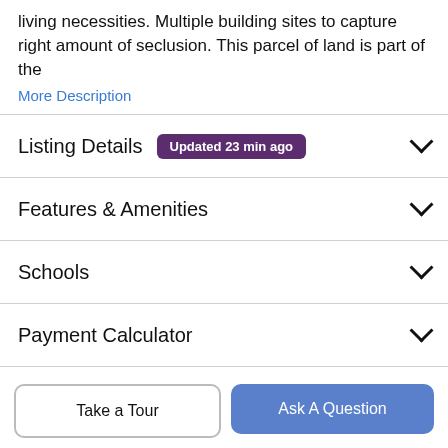living necessities. Multiple building sites to capture right amount of seclusion. This parcel of land is part of the
More Description
Listing Details  Updated 23 min ago
Features & Amenities
Schools
Payment Calculator
Contact Agent